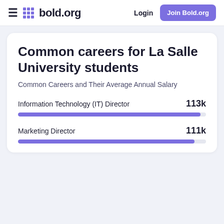bold.org — Login | Join Bold.org
Common careers for La Salle University students
Common Careers and Their Average Annual Salary
Information Technology (IT) Director — 113k
Marketing Director — 111k